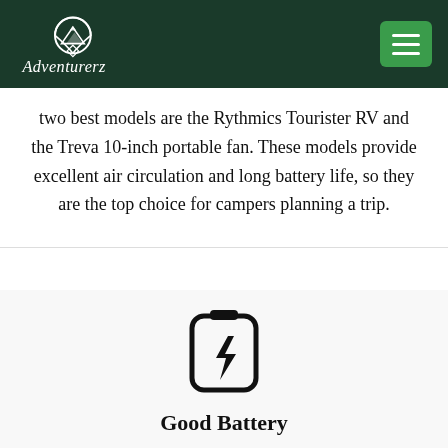Adventurerz
two best models are the Rythmics Tourister RV and the Treva 10-inch portable fan. These models provide excellent air circulation and long battery life, so they are the top choice for campers planning a trip.
[Figure (illustration): Battery charging icon — a battery outline with a lightning bolt inside]
Good Battery
Many top-quality portable fans include a